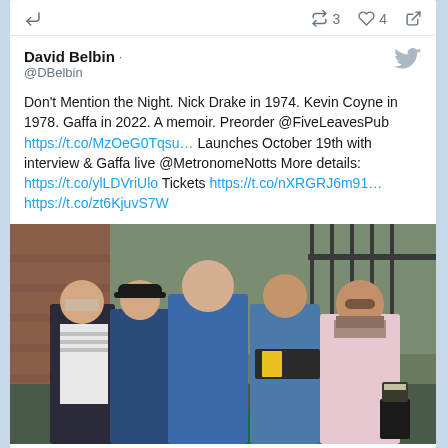Reply icon and action icons: retweet 3, like 4, share
David Belbin
@DBelbin
Don't Mention the Night. Nick Drake in 1974. Kevin Coyne in 1978. Gaffa in 2022. A memoir. Preorder @FiveLeavesPub https://t.co/MzOeG0Tqsu… Launches October 19th with interview & Gaffa live @MetronomeNotts More details: https://t.co/ylLDVriUlo Tickets https://t.co/nXRGRJ6m91… https://t.co/zt6KjuvS7W
[Figure (photo): Five middle-aged men standing together and smiling outdoors near a brick wall. From left: man in dark jacket and striped shirt, man in black flat cap and blue shirt, tall man in blue shirt with arms around others, man in denim jacket and black t-shirt, man in patterned shirt with beard and cap. A pint of stout is visible at bottom right.]